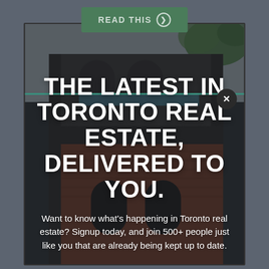READ THIS ❯
[Figure (screenshot): Modal popup overlay on a blurred photo of a Toronto brick building. Contains a close (X) button, a teal horizontal line accent, bold white headline text, and a descriptive paragraph.]
THE LATEST IN TORONTO REAL ESTATE, DELIVERED TO YOU.
Want to know what's happening in Toronto real estate? Signup today, and join 500+ people just like you that are already being kept up to date.